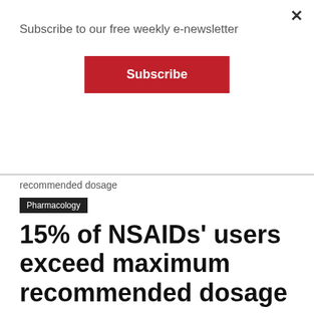Subscribe to our free weekly e-newsletter
Subscribe
recommended dosage
Pharmacology
15% of NSAIDs' users exceed maximum recommended dosage
Facebook
Twitter
Chances are you or someone you know has used non-steroidal anti-inflammatory drugs (NSAIDs) within the last month. NSAIDs, such as Advil (ibuprofen), Aleve (naproxen)